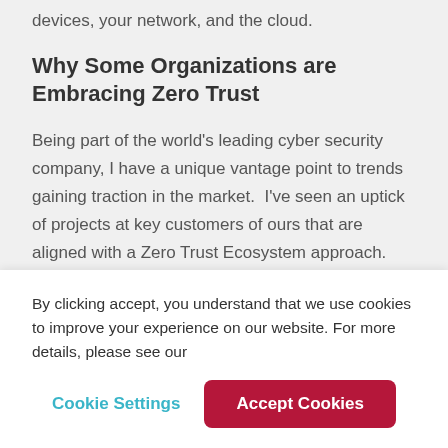devices, your network, and the cloud.
Why Some Organizations are Embracing Zero Trust
Being part of the world's leading cyber security company, I have a unique vantage point to trends gaining traction in the market.  I've seen an uptick of projects at key customers of ours that are aligned with a Zero Trust Ecosystem approach.  Some CIOs and CISOs are adopting part of the Zero Trust framework as their internal template to change their
By clicking accept, you understand that we use cookies to improve your experience on our website. For more details, please see our
Cookie Settings
Accept Cookies